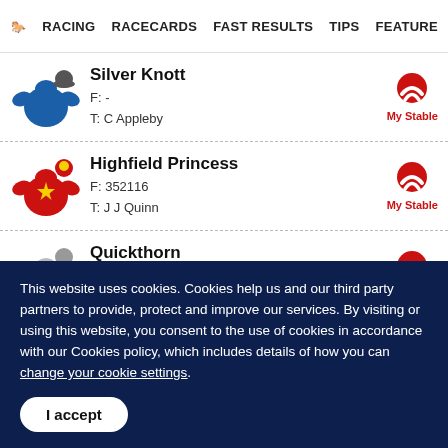RACING   RACECARDS   FAST RESULTS   TIPS   FEATURE
Silver Knott
F: -
T: C Appleby
Highfield Princess
F: 352116
T: J J Quinn
Quickthorn
F: 49-2211
T: H Morrison
Phantom Flight
This website uses cookies. Cookies help us and our third party partners to provide, protect and improve our services. By visiting or using this website, you consent to the use of cookies in accordance with our Cookies policy, which includes details of how you can change your cookie settings.